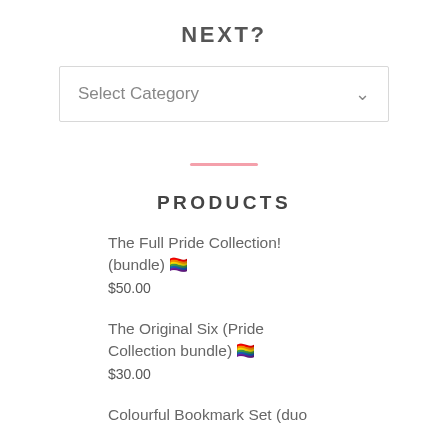NEXT?
Select Category
[Figure (other): Pink horizontal decorative bar]
PRODUCTS
The Full Pride Collection! (bundle) 🏳️‍🌈
$50.00
The Original Six (Pride Collection bundle) 🏳️‍🌈
$30.00
Colourful Bookmark Set (duo